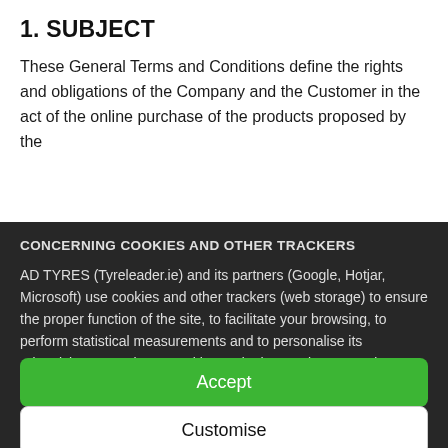1. SUBJECT
These General Terms and Conditions define the rights and obligations of the Company and the Customer in the act of the online purchase of the products proposed by the
CONCERNING COOKIES AND OTHER TRACKERS
AD TYRES (Tyreleader.ie) and its partners (Google, Hotjar, Microsoft) use cookies and other trackers (web storage) to ensure the proper function of the site, to facilitate your browsing, to perform statistical measurements and to personalise its advertising campaigns. Cookies and other trackers stored on your device may contain personal data. Furthermore, we do not deposit any cookies or other trackers without your voluntary and
Accept
Customise